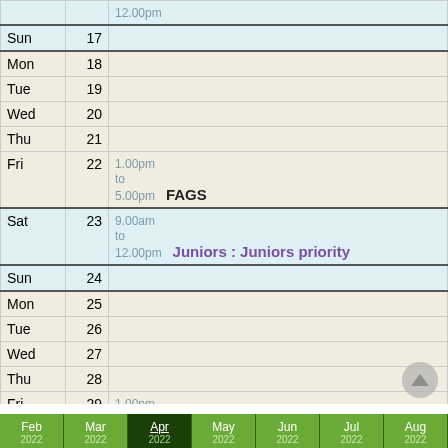| Day | Date | Event |
| --- | --- | --- |
|  |  | 9.00am to 12.00pm |
| Sun | 17 |  |
| Mon | 18 |  |
| Tue | 19 |  |
| Wed | 20 |  |
| Thu | 21 |  |
| Fri | 22 | 1.00pm to 5.00pm   FAGS |
| Sat | 23 | 9.00am to 12.00pm   Juniors : Juniors priority |
| Sun | 24 |  |
| Mon | 25 |  |
| Tue | 26 |  |
| Wed | 27 |  |
| Thu | 28 |  |
| Fri | 29 | 1.00pm to 5.00pm   FAGS |
| Sat | 30 | 9.00am to 12.00pm   Juniors : Juniors priority and coaching |
Feb | Mar | Apr | May | Jun | Jul | Aug